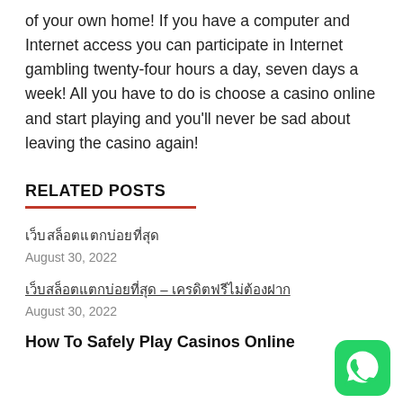of your own home! If you have a computer and Internet access you can participate in Internet gambling twenty-four hours a day, seven days a week! All you have to do is choose a casino online and start playing and you'll never be sad about leaving the casino again!
RELATED POSTS
เว็บสล็อตแตกบ่อยที่สุด
August 30, 2022
เว็บสล็อตแตกบ่อยที่สุด – เครดิตฟรีไม่ต้องฝาก
August 30, 2022
How To Safely Play Casinos Online